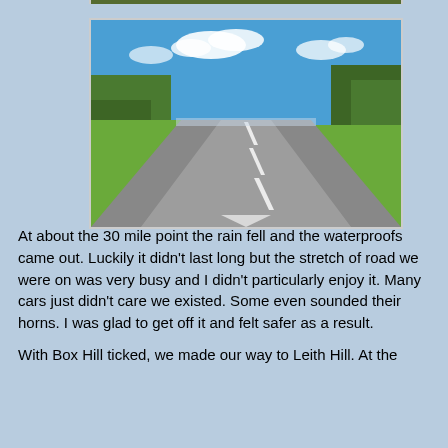[Figure (photo): A wide open road stretching into the distance, flanked by green trees and grass on both sides, under a blue sky with white clouds. The road has dashed white lane markings and appears slightly wet.]
At about the 30 mile point the rain fell and the waterproofs came out. Luckily it didn't last long but the stretch of road we were on was very busy and I didn't particularly enjoy it. Many cars just didn't care we existed. Some even sounded their horns. I was glad to get off it and felt safer as a result.
With Box Hill ticked, we made our way to Leith Hill. At the